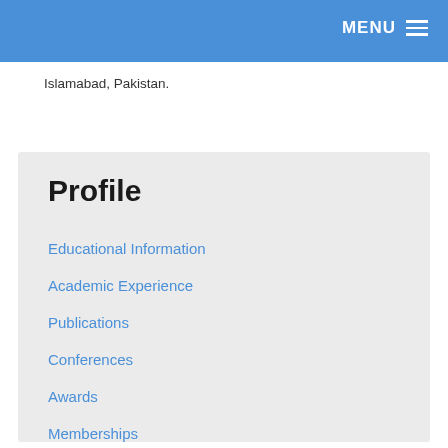MENU
Islamabad, Pakistan.
Profile
Educational Information
Academic Experience
Publications
Conferences
Awards
Memberships